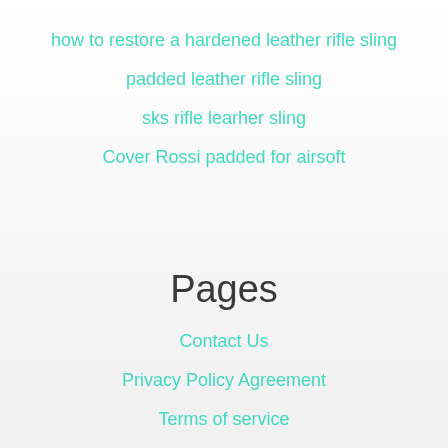how to restore a hardened leather rifle sling
padded leather rifle sling
sks rifle learher sling
Cover Rossi padded for airsoft
Pages
Contact Us
Privacy Policy Agreement
Terms of service